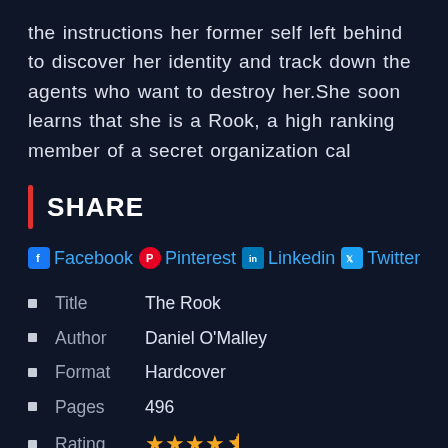the instructions her former self left behind to discover her identity and track down the agents who want to destroy her.She soon learns that she is a Rook, a high ranking member of a secret organization cal
SHARE
Facebook Pinterest Linkedin Twitter
Title  The Rook
Author  Daniel O'Malley
Format  Hardcover
Pages  496
Rating  ★★★★⯪